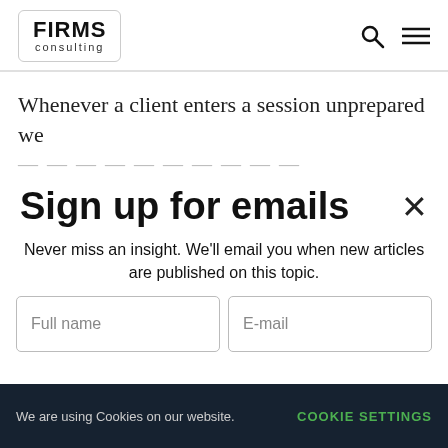[Figure (logo): FIRMS consulting logo in a rounded rectangle border]
Whenever a client enters a session unprepared we
Sign up for emails
Never miss an insight. We'll email you when new articles are published on this topic.
Full name
E-mail
Subscribe
We are using Cookies on our website.  COOKIE SETTINGS